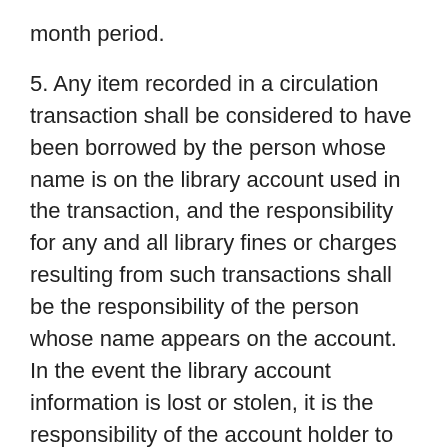month period.
5. Any item recorded in a circulation transaction shall be considered to have been borrowed by the person whose name is on the library account used in the transaction, and the responsibility for any and all library fines or charges resulting from such transactions shall be the responsibility of the person whose name appears on the account. In the event the library account information is lost or stolen, it is the responsibility of the account holder to notify the Library immediately of the loss or theft which releases the account holder of any charges against a stolen library account after the account holder has notified the library.
6. The number of items allowed to be on loan to any single borrower is limited to 50 items, which may be a combination of any library materials in the circulating collection, visiting exchange programs, or loaned to the